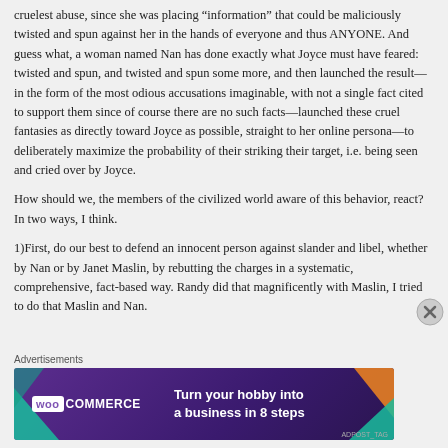cruelest abuse, since she was placing “information” that could be maliciously twisted and spun against her in the hands of everyone and thus ANYONE. And guess what, a woman named Nan has done exactly what Joyce must have feared: twisted and spun, and twisted and spun some more, and then launched the result—in the form of the most odious accusations imaginable, with not a single fact cited to support them since of course there are no such facts—launched these cruel fantasies as directly toward Joyce as possible, straight to her online persona—to deliberately maximize the probability of their striking their target, i.e. being seen and cried over by Joyce.
How should we, the members of the civilized world aware of this behavior, react? In two ways, I think.
1)First, do our best to defend an innocent person against slander and libel, whether by Nan or by Janet Maslin, by rebutting the charges in a systematic, comprehensive, fact-based way. Randy did that magnificently with Maslin, I tried to do that Maslin and Nan.
Advertisements
[Figure (infographic): WooCommerce advertisement banner with purple background, teal and orange geometric shapes, WooCommerce logo on left, text 'Turn your hobby into a business in 8 steps' on right]